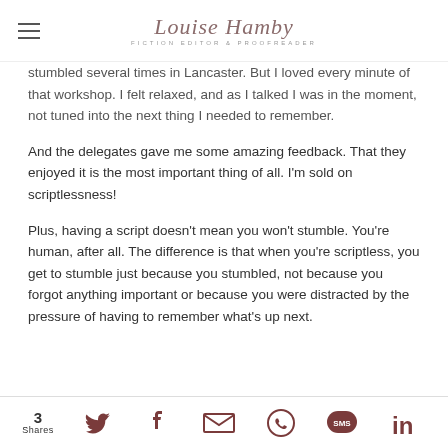Louise Hamby — Fiction Editor & Proofreader
stumbled several times in Lancaster. But I loved every minute of that workshop. I felt relaxed, and as I talked I was in the moment, not tuned into the next thing I needed to remember.
And the delegates gave me some amazing feedback. That they enjoyed it is the most important thing of all. I'm sold on scriptlessness!
Plus, having a script doesn't mean you won't stumble. You're human, after all. The difference is that when you're scriptless, you get to stumble just because you stumbled, not because you forgot anything important or because you were distracted by the pressure of having to remember what's up next.
3 Shares — social share buttons: Twitter, Facebook, Email, WhatsApp, SMS, LinkedIn